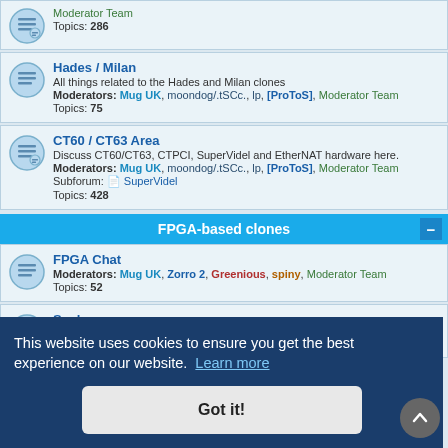Moderator Team
Topics: 286
Hades / Milan
All things related to the Hades and Milan clones
Moderators: Mug UK, moondog/.tSCc., lp, [ProToS], Moderator Team
Topics: 75
CT60 / CT63 Area
Discuss CT60/CT63, CTPCI, SuperVidel and EtherNAT hardware here.
Moderators: Mug UK, moondog/.tSCc., lp, [ProToS], Moderator Team
Subforum: SuperVidel
Topics: 428
FPGA-based clones
FPGA Chat
Moderators: Mug UK, Zorro 2, Greenious, spiny, Moderator Team
Topics: 52
Suska
This website uses cookies to ensure you get the best experience on our website. Learn more
Got it!
Moderators: Mug UK, Zorro 2, Greenious, spiny, Moderator Team
Topics: 14